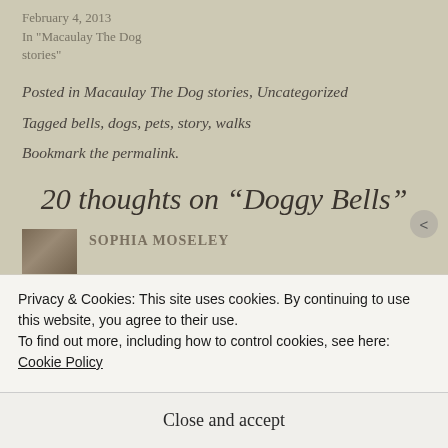February 4, 2013
In "Macaulay The Dog stories"
Posted in Macaulay The Dog stories, Uncategorized
Tagged bells, dogs, pets, story, walks
Bookmark the permalink.
20 thoughts on “Doggy Bells”
SOPHIA MOSELEY
Privacy & Cookies: This site uses cookies. By continuing to use this website, you agree to their use.
To find out more, including how to control cookies, see here: Cookie Policy
Close and accept